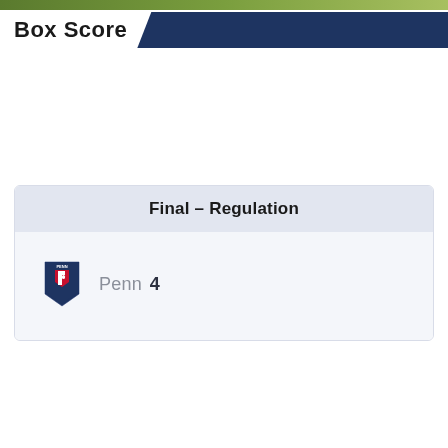[Figure (photo): Green grass field banner image at top of page]
Box Score
| Final - Regulation |  |
| --- | --- |
| Penn | 4 |